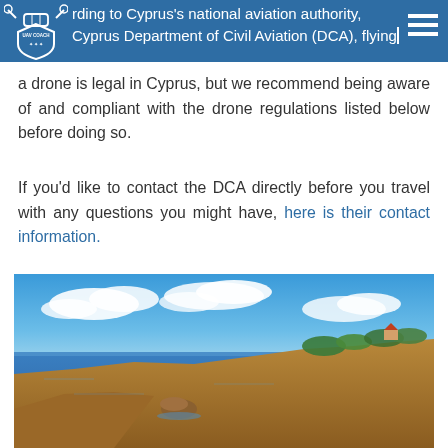According to Cyprus's national aviation authority, the Cyprus Department of Civil Aviation (DCA), flying a drone is legal in Cyprus, but we recommend being aware of and compliant with the drone regulations listed below before doing so.
According to Cyprus's national aviation authority, the Cyprus Department of Civil Aviation (DCA), flying a drone is legal in Cyprus, but we recommend being aware of and compliant with the drone regulations listed below before doing so.
If you'd like to contact the DCA directly before you travel with any questions you might have, here is their contact information.
[Figure (photo): Aerial/ground-level photo of the Cyprus coastline showing rocky shoreline, blue Mediterranean sea, green vegetation and buildings in the background under a bright blue sky with white clouds.]